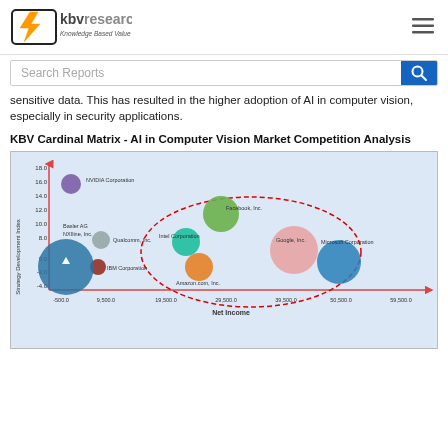[Figure (logo): KBV Research logo with orange lightning bolt icon and text 'kbv research Knowledge Based Value']
[Figure (other): Hamburger menu icon (three horizontal lines)]
[Figure (other): Search bar with text 'Search Reports' and blue search button]
sensitive data. This has resulted in the higher adoption of AI in computer vision, especially in security applications.
KBV Cardinal Matrix - AI in Computer Vision Market Competition Analysis
[Figure (bubble-chart): Bubble chart (KBV Cardinal Matrix) showing competitive positioning of companies including NVIDIA Corporation, Facebook Inc., Google Inc., Microsoft Corporation, Intel Corporation, Amazon.com Inc., Qualcomm Inc., IBM Corporation, Basler AG, NXIline Inc. Axes: Net Income (x) from -500.0 to 59,500.0, Strategy Development Index (y) from -4.0 to 18.0. A dashed red ellipse highlights the main competitive cluster.]